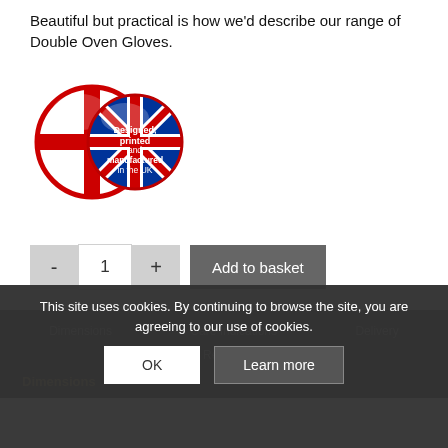Beautiful but practical is how we'd describe our range of Double Oven Gloves.
[Figure (logo): UK badge with Union Jack and text 'Designed, printed and manufactured in the UK']
- 1 + Add to basket
SKU: 0152-DEDO00 Categories: Deer, Double Oven Gloves
Dimensions  Care Indications  Delivery  Returns  Dimensions
This site uses cookies. By continuing to browse the site, you are agreeing to our use of cookies. OK  Learn more